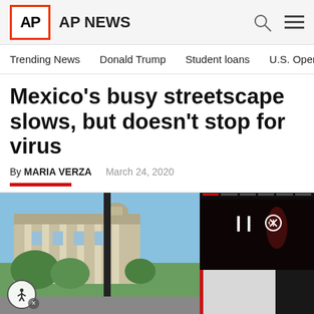AP | AP NEWS
Trending News   Donald Trump   Student loans   U.S. Open Tenn
Mexico’s busy streetscape slows, but doesn’t stop for virus
By MARIA VERZA   March 24, 2020
[Figure (photo): Street scene in Mexico City showing a classical building with columns, street lamp in foreground, and trees; partial video overlay panel on right side with playback controls.]